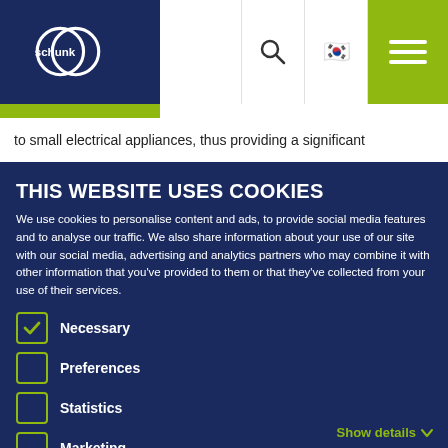[Figure (logo): Schunk company logo on dark navy background with lime accent bar]
to small electrical appliances, thus providing a significant
THIS WEBSITE USES COOKIES
We use cookies to personalise content and ads, to provide social media features and to analyse our traffic. We also share information about your use of our site with our social media, advertising and analytics partners who may combine it with other information that you've provided to them or that they've collected from your use of their services.
Necessary
Preferences
Statistics
Marketing
Show details